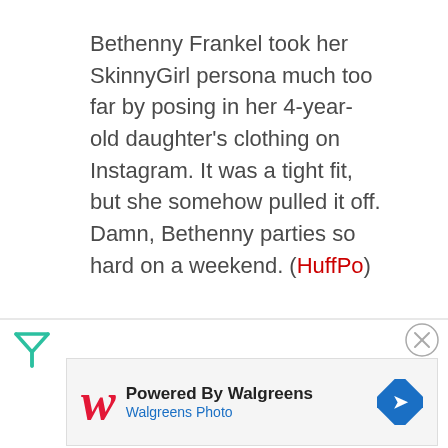Bethenny Frankel took her SkinnyGirl persona much too far by posing in her 4-year-old daughter's clothing on Instagram. It was a tight fit, but she somehow pulled it off. Damn, Bethenny parties so hard on a weekend. (HuffPo)
[Figure (other): Filter/funnel icon in teal/green color on left side, and a close (X) button circle on right side — part of a web UI toolbar]
[Figure (other): Advertisement banner: Powered By Walgreens — Walgreens Photo, with Walgreens W logo and a blue diamond navigation icon]